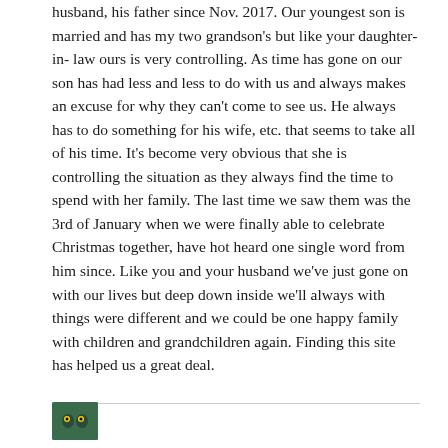husband, his father since Nov. 2017. Our youngest son is married and has my two grandson's but like your daughter-in-law ours is very controlling. As time has gone on our son has had less and less to do with us and always makes an excuse for why they can't come to see us. He always has to do something for his wife, etc. that seems to take all of his time. It's become very obvious that she is controlling the situation as they always find the time to spend with her family. The last time we saw them was the 3rd of January when we were finally able to celebrate Christmas together, have hot heard one single word from him since. Like you and your husband we've just gone on with our lives but deep down inside we'll always with things were different and we could be one happy family with children and grandchildren again. Finding this site has helped us a great deal.
[Figure (photo): Small avatar/profile photo thumbnail, appears to be a dark green/teal image]